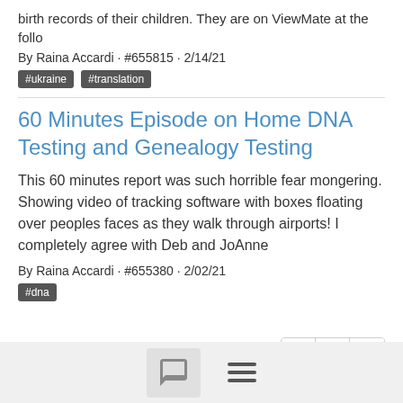birth records of their children. They are on ViewMate at the follo
By Raina Accardi · #655815 · 2/14/21
#ukraine
#translation
60 Minutes Episode on Home DNA Testing and Genealogy Testing
This 60 minutes report was such horrible fear mongering. Showing video of tracking software with boxes floating over peoples faces as they walk through airports! I completely agree with Deb and JoAnne
By Raina Accardi · #655380 · 2/02/21
#dna
1 - 17 of 17